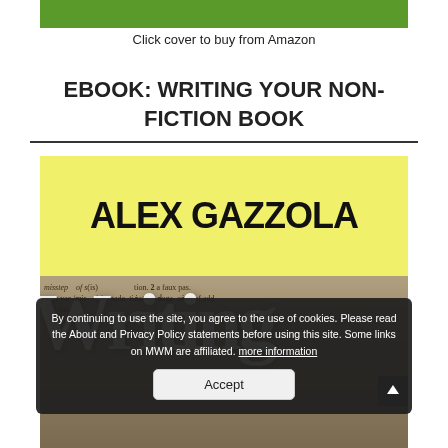[Figure (other): Green horizontal bar at top of page, partial book cover strip]
Click cover to buy from Amazon
EBOOK: WRITING YOUR NON-FICTION BOOK
[Figure (photo): Book cover for 'Writing Your Non-Fiction Book' by Alex Gazzola. Top half has yellow-green background with large bold text 'ALEX GAZZOLA'. Bottom half shows a dictionary page background with large white 'Writing' text overlaid.]
By continuing to use the site, you agree to the use of cookies. Please read the About and Privacy Policy statements before using this site. Some links on MWM are affiliated. more information
Accept